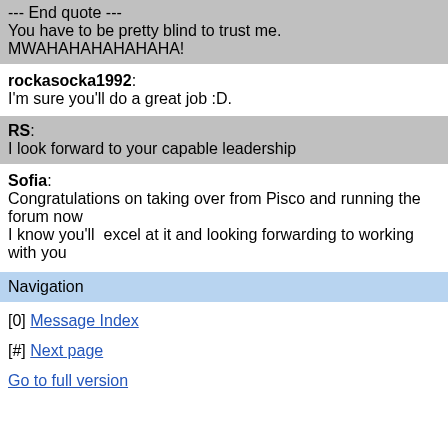--- End quote ---
You have to be pretty blind to trust me. MWAHAHAHAHAHAHA!
rockasocka1992: I'm sure you'll do a great job :D.
RS: I look forward to your capable leadership
Sofia: Congratulations on taking over from Pisco and running the forum now
I know you'll  excel at it and looking forwarding to working with you
Navigation
[0] Message Index
[#] Next page
Go to full version